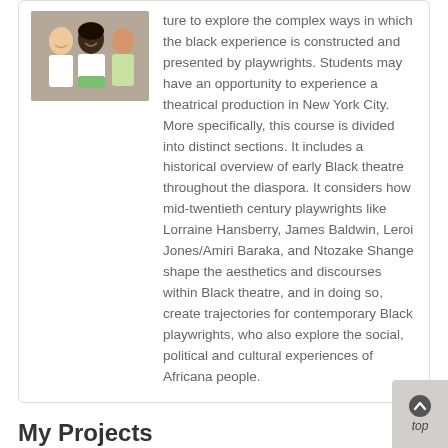[Figure (photo): Photo of people smiling, appears to be students or group members]
ture to explore the complex ways in which the black experience is constructed and presented by playwrights. Students may have an opportunity to experience a theatrical production in New York City. More specifically, this course is divided into distinct sections. It includes a historical overview of early Black theatre throughout the diaspora. It considers how mid-twentieth century playwrights like Lorraine Hansberry, James Baldwin, Leroi Jones/Amiri Baraka, and Ntozake Shange shape the aesthetics and discourses within Black theatre, and in doing so, create trajectories for contemporary Black playwrights, who also explore the social, political and cultural experiences of Africana people.
My Projects
DilnozaK hasn't created or joined any projects yet.
My Clubs